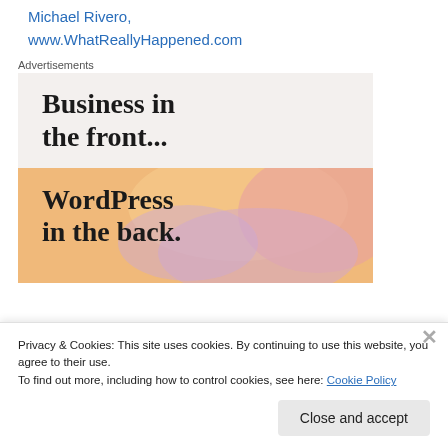Michael Rivero,
www.WhatReallyHappened.com
Advertisements
[Figure (illustration): WordPress advertisement: top half shows 'Business in the front...' on light beige background, bottom half shows 'WordPress in the back.' on a colorful orange/pink/lavender gradient blob background.]
Privacy & Cookies: This site uses cookies. By continuing to use this website, you agree to their use.
To find out more, including how to control cookies, see here: Cookie Policy